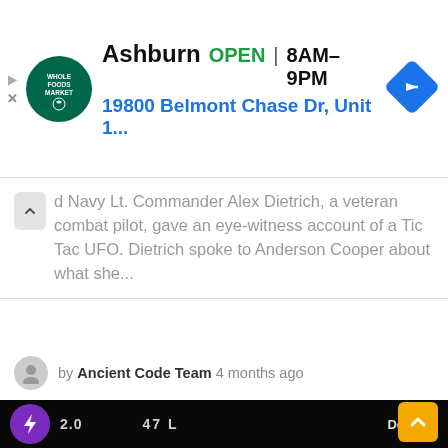[Figure (screenshot): Whole Foods Market advertisement banner showing Ashburn location, OPEN 8AM-9PM, address 19800 Belmont Chase Dr, Unit 1..., with navigation diamond icon]
d Navy Lt. Commander Alex Dietrich, a veteran combat pilot, gave an eye-witness account of a Tic Tac UFO. Dietrich spoke to Anderson Cooper about what she...
by Ancient Code Team 4 months ago
[Figure (screenshot): Dark video frame showing a military HUD (heads-up display) with text '2.0', '47 L', and 'Defense' label in top right. Purple lightning bolt button visible. A crosshair/reticle shape visible in lower center. Yellow scroll-up button in bottom right corner.]